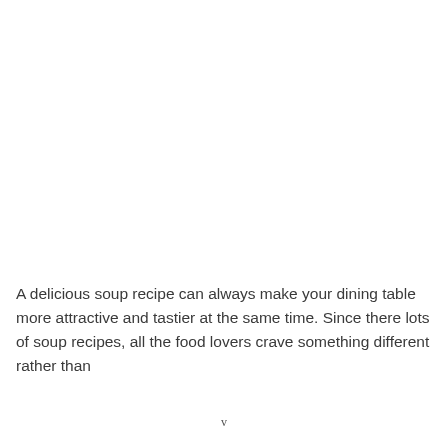A delicious soup recipe can always make your dining table more attractive and tastier at the same time. Since there lots of soup recipes, all the food lovers crave something different rather than
v